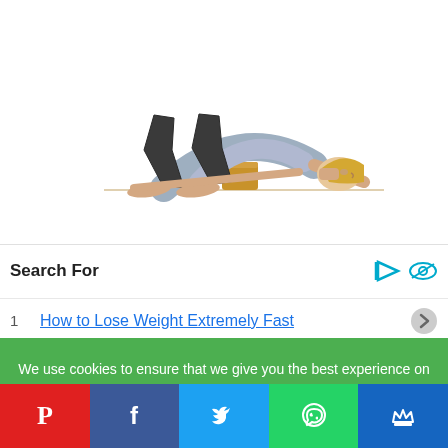[Figure (photo): Woman performing a yoga bridge pose (Setu Bandhasana) on a white background. She is wearing dark leggings and a light purple top, with a wooden yoga block under her back, arms extended along the floor.]
Search For
1  How to Lose Weight Extremely Fast
We use cookies to ensure that we give you the best experience on our website. If you continue to use this site we will assume that you are happy with it.